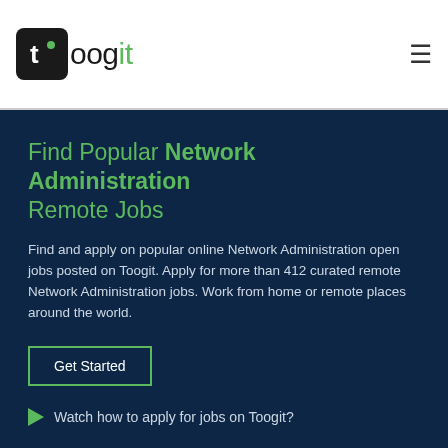toogit
Find Popular Network Administration Remote Jobs
Find and apply on popular online Network Administration open jobs posted on Toogit. Apply for more than 412 curated remote Network Administration jobs. Work from home or remote places around the world.
Get Started
Watch how to apply for jobs on Toogit?